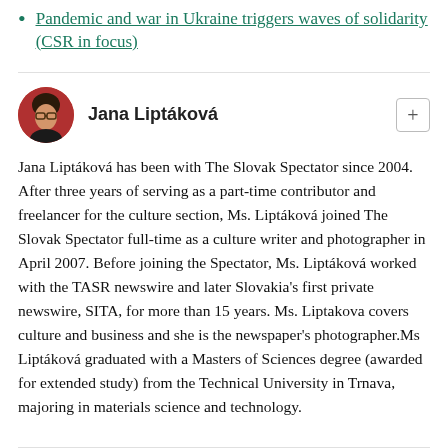Pandemic and war in Ukraine triggers waves of solidarity (CSR in focus)
[Figure (photo): Circular avatar photo of Jana Liptáková, a woman with glasses and dark clothing]
Jana Liptáková
Jana Liptáková has been with The Slovak Spectator since 2004. After three years of serving as a part-time contributor and freelancer for the culture section, Ms. Liptáková joined The Slovak Spectator full-time as a culture writer and photographer in April 2007. Before joining the Spectator, Ms. Liptáková worked with the TASR newswire and later Slovakia's first private newswire, SITA, for more than 15 years. Ms. Liptakova covers culture and business and she is the newspaper's photographer.Ms Liptáková graduated with a Masters of Sciences degree (awarded for extended study) from the Technical University in Trnava, majoring in materials science and technology.